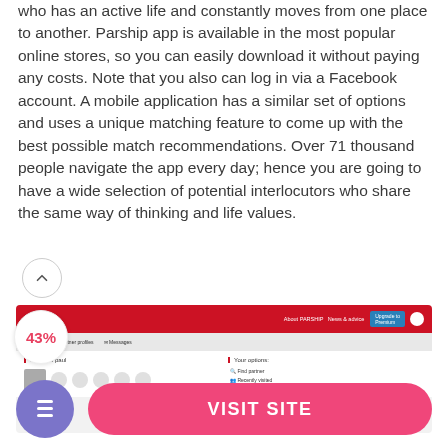who has an active life and constantly moves from one place to another. Parship app is available in the most popular online stores, so you can easily download it without paying any costs. Note that you also can log in via a Facebook account. A mobile application has a similar set of options and uses a unique matching feature to come up with the best possible match recommendations. Over 71 thousand people navigate the app every day; hence you are going to have a wide selection of potential interlocutors who share the same way of thinking and life values.
[Figure (screenshot): Screenshot of the Parship app/website showing the PARSHIP header in red, navigation bar with Home, Partner profiles, Messages, and an Upgrade to Premium button. Below shows 'Hello Ms paul' greeting on the left and 'Your options' panel on the right with Find partner option. A 43% badge overlaid on the bottom-left of the screenshot.]
[Figure (other): Purple circular icon button with document/list icon, and a pink rounded rectangle VISIT SITE button]